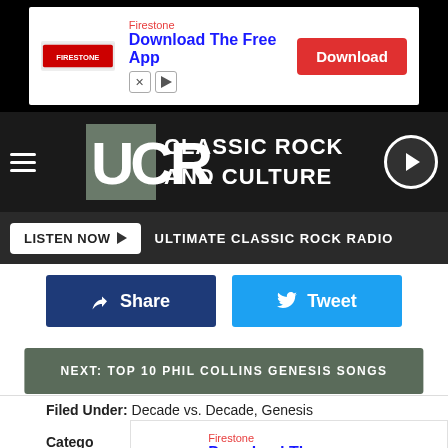[Figure (screenshot): Firestone Download The Free App advertisement banner at top]
[Figure (logo): UCR Classic Rock and Culture website header with hamburger menu and play button]
LISTEN NOW ▶  ULTIMATE CLASSIC ROCK RADIO
[Figure (screenshot): Facebook Share button (dark blue) and Twitter Tweet button (light blue)]
NEXT: TOP 10 PHIL COLLINS GENESIS SONGS
Filed Under: Decade vs. Decade, Genesis
Catego
[Figure (screenshot): Firestone Download The Free App advertisement banner at bottom]